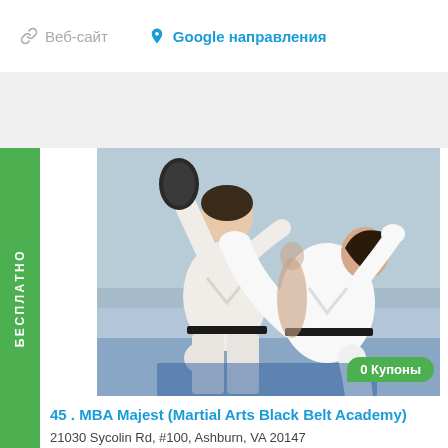Веб-сайт   Google направления
[Figure (photo): Two martial artists in white gi uniforms practicing taekwondo/karate kicks. One person is kicking while the other holds a pad.]
0 Купоны
БЕСПЛАТНО
45 . MBA Majest (Martial Arts Black Belt Academy)
21030 Sycolin Rd, #100, Ashburn, VA 20147